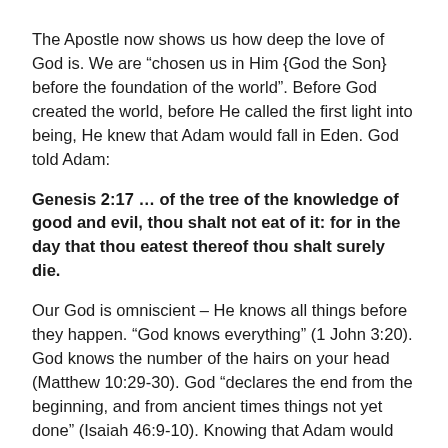The Apostle now shows us how deep the love of God is. We are “chosen us in Him {God the Son} before the foundation of the world”. Before God created the world, before He called the first light into being, He knew that Adam would fall in Eden. God told Adam:
Genesis 2:17 … of the tree of the knowledge of good and evil, thou shalt not eat of it: for in the day that thou eatest thereof thou shalt surely die.
Our God is omniscient – He knows all things before they happen. “God knows everything” (1 John 3:20). God knows the number of the hairs on your head (Matthew 10:29-30). God “declares the end from the beginning, and from ancient times things not yet done” (Isaiah 46:9-10). Knowing that Adam would fall, the earth would need a Savior, God the Son, “before the foundation of the world”